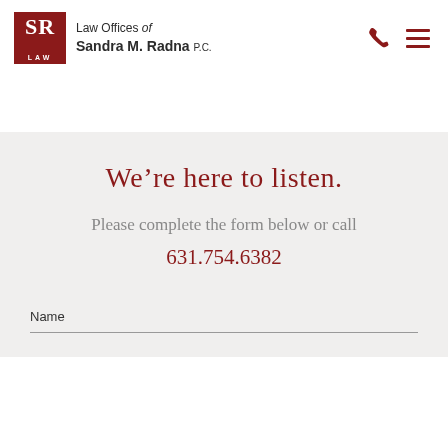[Figure (logo): SR Law logo — dark red square with SR monogram and LAW text beneath, followed by firm name 'Law Offices of Sandra M. Radna P.C.']
We're here to listen.
Please complete the form below or call 631.754.6382
Name